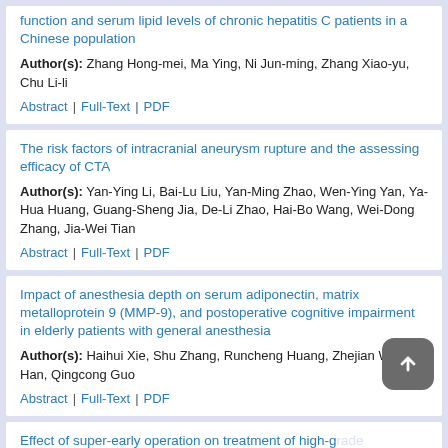function and serum lipid levels of chronic hepatitis C patients in a Chinese population
Author(s): Zhang Hong-mei, Ma Ying, Ni Jun-ming, Zhang Xiao-yu, Chu Li-li
Abstract | Full-Text | PDF
The risk factors of intracranial aneurysm rupture and the assessing efficacy of CTA
Author(s): Yan-Ying Li, Bai-Lu Liu, Yan-Ming Zhao, Wen-Ying Yan, Ya-Hua Huang, Guang-Sheng Jia, De-Li Zhao, Hai-Bo Wang, Wei-Dong Zhang, Jia-Wei Tian
Abstract | Full-Text | PDF
Impact of anesthesia depth on serum adiponectin, matrix metalloprotein 9 (MMP-9), and postoperative cognitive impairment in elderly patients with general anesthesia
Author(s): Haihui Xie, Shu Zhang, Runcheng Huang, Zhejian Wu, Qi Han, Qingcong Guo
Abstract | Full-Text | PDF
Effect of super-early operation on treatment of high-grade ruptured intracranial aneurysm
Author(s): Zhenbo Liu, Liguo Qi, Jian Zhu